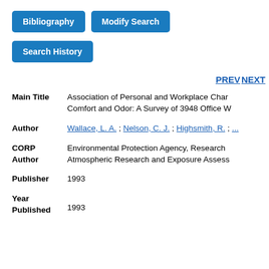Bibliography
Modify Search
Search History
PREV NEXT
| Field | Value |
| --- | --- |
| Main Title | Association of Personal and Workplace Characteristics with Health, Comfort and Odor: A Survey of 3948 Office W... |
| Author | Wallace, L. A. ; Nelson, C. J. ; Highsmith, R. ; ... |
| CORP Author | Environmental Protection Agency, Research... Atmospheric Research and Exposure Assess... |
| Publisher | 1993 |
| Year Published | 1993 |